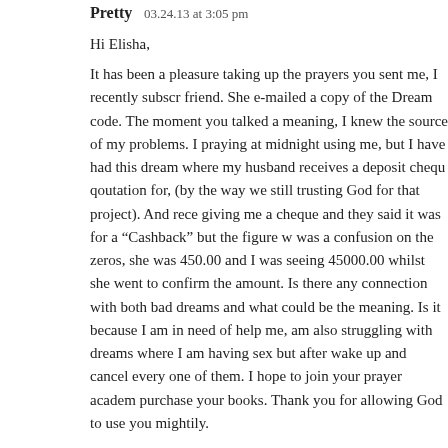Pretty  03.24.13 at 3:05 pm
Hi Elisha,
It has been a pleasure taking up the prayers you sent me, I recently subscribed friend. She e-mailed a copy of the Dream code. The moment you talked a meaning, I knew the source of my problems. I praying at midnight using me, but I have had this dream where my husband receives a deposit chequ qoutation for, (by the way we still trusting God for that project). And rece giving me a cheque and they said it was for a “Cashback” but the figure w was a confusion on the zeros, she was 450.00 and I was seeing 45000.00 whilst she went to confirm the amount. Is there any connection with both bad dreams and what could be the meaning. Is it because I am in need of help me, am also struggling with dreams where I am having sex but after wake up and cancel every one of them. I hope to join your prayer academ purchase your books. Thank you for allowing God to use you mightily.
God Bless You
Pre
[Reply]